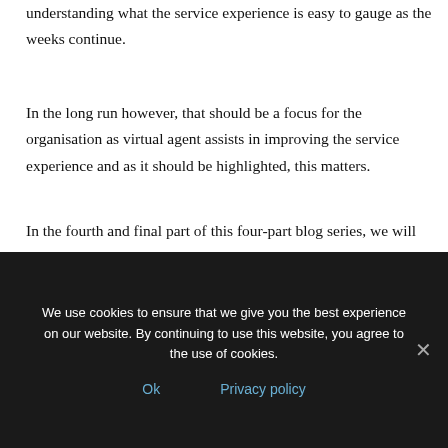understanding what the service experience is easy to gauge as the weeks continue.
In the long run however, that should be a focus for the organisation as virtual agent assists in improving the service experience and as it should be highlighted, this matters.
In the fourth and final part of this four-part blog series, we will discuss just that, how service experience matters.
In the meantime, check out this great Virtual Agent demo from
We use cookies to ensure that we give you the best experience on our website. By continuing to use this website, you agree to the use of cookies.
Ok
Privacy policy